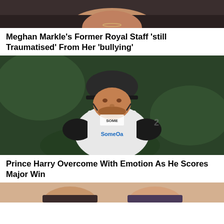[Figure (photo): Partial photo of a woman, only lower face and shoulders visible, dark top]
Meghan Markle’s Former Royal Staff ‘still Traumatised’ From Her ‘bullying’
[Figure (photo): Prince Harry wearing a polo helmet and white polo shirt with SomeOa sponsor logo, mid-action on polo field, green background]
Prince Harry Overcome With Emotion As He Scores Major Win
[Figure (photo): Partial bottom of another article image, showing faces cropped at bottom of page]